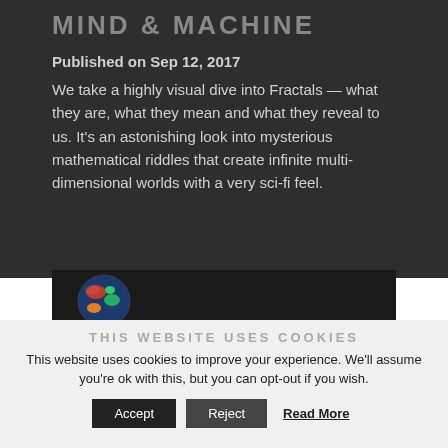MIND & MACHINE
Published on Sep 12, 2017
We take a highly visual dive into Fractals — what they are, what they mean and what they reveal to us. It's an astonishing look into mysterious mathematical riddles that create infinite multi-dimensional worlds with a very sci-fi feel.
[Figure (photo): Partial image of a colorful globe/earth illustration on dark background]
THIS WEBSITE USES COOKIES
This website uses cookies to improve your experience. We'll assume you're ok with this, but you can opt-out if you wish.
Accept   Reject   Read More